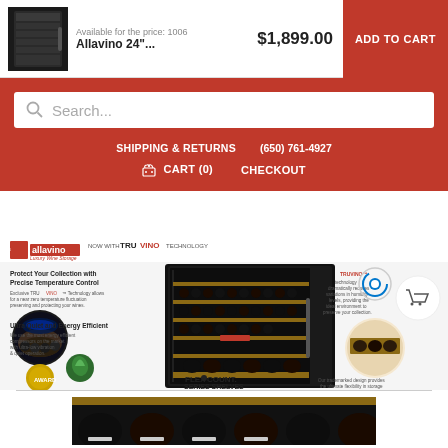Available for the price: 1006
Allavino 24"...
$1,899.00
ADD TO CART
Search...
SHIPPING & RETURNS   (650) 761-4927
CART (0)   CHECKOUT
[Figure (screenshot): Allavino wine cooler product promotional image featuring the wine refrigerator with TRUVINO technology branding, FLEXCOUNT SERIES SHELVES label, and feature callouts including Protect Your Collection with Precise Temperature Control, Ultra Quiet and Energy Efficient, and humidity control circle diagram]
[Figure (photo): Close-up photo of wine bottles stored in a wine cooler refrigerator with wooden shelves]